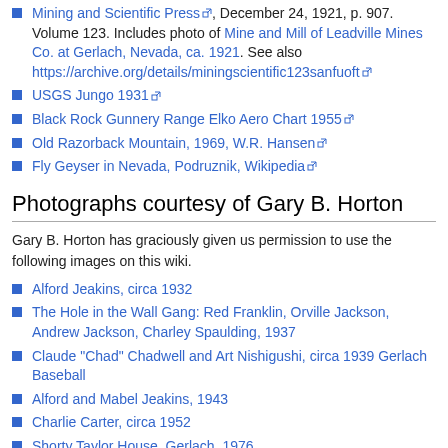Mining and Scientific Press, December 24, 1921, p. 907. Volume 123. Includes photo of Mine and Mill of Leadville Mines Co. at Gerlach, Nevada, ca. 1921. See also https://archive.org/details/miningscientific123sanfuoft
USGS Jungo 1931
Black Rock Gunnery Range Elko Aero Chart 1955
Old Razorback Mountain, 1969, W.R. Hansen
Fly Geyser in Nevada, Podruznik, Wikipedia
Photographs courtesy of Gary B. Horton
Gary B. Horton has graciously given us permission to use the following images on this wiki.
Alford Jeakins, circa 1932
The Hole in the Wall Gang: Red Franklin, Orville Jackson, Andrew Jackson, Charley Spaulding, 1937
Claude "Chad" Chadwell and Art Nishigushi, circa 1939 Gerlach Baseball
Alford and Mabel Jeakins, 1943
Charlie Carter, circa 1952
Shorty Taylor House, Gerlach, 1976
Al Jeakins Tie House in 2008